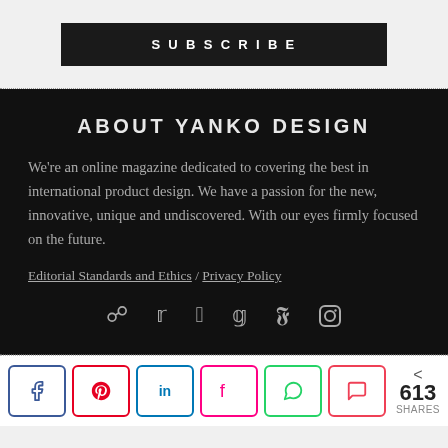SUBSCRIBE
ABOUT YANKO DESIGN
We're an online magazine dedicated to covering the best in international product design. We have a passion for the new, innovative, unique and undiscovered. With our eyes firmly focused on the future.
Editorial Standards and Ethics / Privacy Policy
[Figure (infographic): Social media icons: RSS, Twitter, Facebook, Google+, Pinterest, Instagram]
613 SHARES — Facebook, Pinterest, LinkedIn, Flipboard, WhatsApp, Pocket share buttons